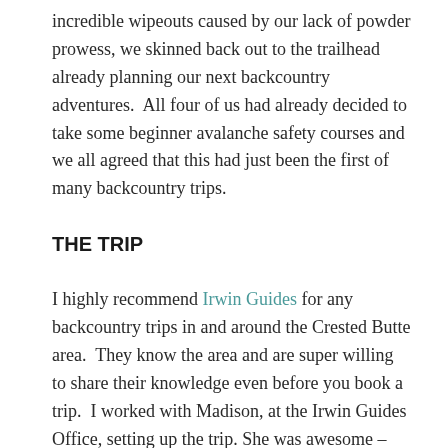incredible wipeouts caused by our lack of powder prowess, we skinned back out to the trailhead already planning our next backcountry adventures.  All four of us had already decided to take some beginner avalanche safety courses and we all agreed that this had just been the first of many backcountry trips.
THE TRIP
I highly recommend Irwin Guides for any backcountry trips in and around the Crested Butte area.  They know the area and are super willing to share their knowledge even before you book a trip.  I worked with Madison, at the Irwin Guides Office, setting up the trip. She was awesome – always patient with our newbie questions and she